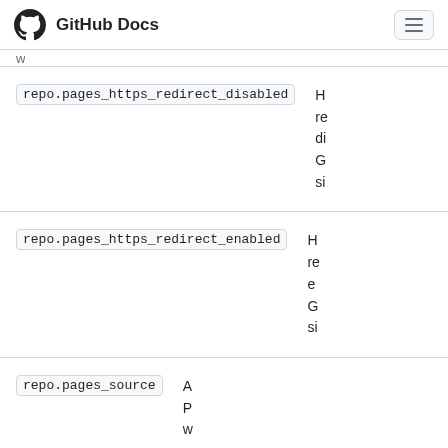GitHub Docs
repo.pages_https_redirect_disabled
repo.pages_https_redirect_enabled
repo.pages_source